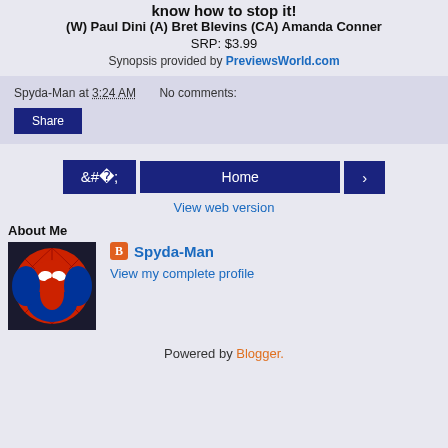know how to stop it!
(W) Paul Dini (A) Bret Blevins (CA) Amanda Conner
SRP: $3.99
Synopsis provided by PreviewsWorld.com
Spyda-Man at 3:24 AM    No comments:
Share
Home
View web version
About Me
[Figure (photo): Spider-Man comic artwork profile image]
Spyda-Man
View my complete profile
Powered by Blogger.